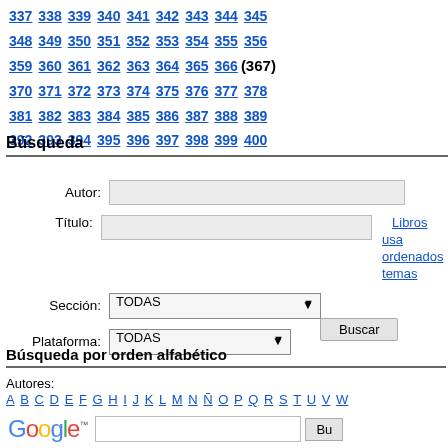337 338 339 340 341 342 343 344 345 ... 348 349 350 351 352 353 354 355 356 ... 359 360 361 362 363 364 365 366 (367) ... 370 371 372 373 374 375 376 377 378 ... 381 382 383 384 385 386 387 388 389 ... 392 393 394 395 396 397 398 399 400 ...
Búsqueda
Autor:
Título:
Libros usados ordenados temas
Sección: TODAS
Plataforma: TODAS
Buscar
Búsqueda por orden alfabético
Autores:
A B C D E F G H I J K L M N Ñ O P Q R S T U V W
Obras:
A B C D E F G H I J K L M N Ñ O P Q R S T U V W
[Figure (screenshot): Google search bar at bottom of page with Google logo, search input, and search button]